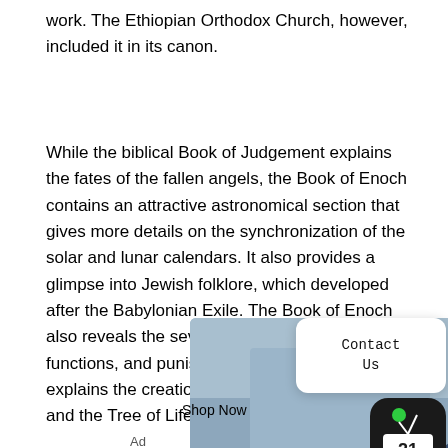work. The Ethiopian Orthodox Church, however, included it in its canon.
While the biblical Book of Judgement explains the fates of the fallen angels, the Book of Enoch contains an attractive astronomical section that gives more details on the synchronization of the solar and lunar calendars. It also provides a glimpse into Jewish folklore, which developed after the Babylonian Exile. The Book of Enoch also reveals the seven archangels' names, functions, and punishment. The book also explains the creation of the Seven Great Islands and the Tree of Life.
[Figure (photo): Advertisement photo showing a man with glasses smiling at a computer, with a 'Shop Now' button and ad badge. Also shows a 'Contact Us' popup and a TV21 badge.]
Shop Now
Ad